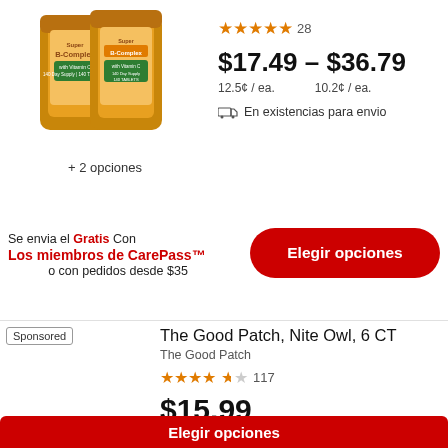[Figure (photo): Product image of B-Complex with Vitamin C supplement bottle, 140 Day Supply 140 Tablets]
+ 2 opciones
★★★★★ 28
$17.49 – $36.79
12.5¢ / ea.   10.2¢ / ea.
🚚 En existencias para envio
Se envia el Gratis Con
Los miembros de CarePass™
o con pedidos desde $35
Elegir opciones
Sponsored
The Good Patch, Nite Owl, 6 CT
The Good Patch
★★★★½ 117
$15.99
$2.67 / ea.
🚚 En existencias para envio